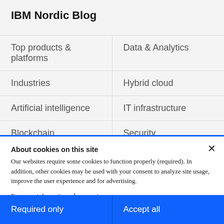IBM Nordic Blog
Top products & platforms
Data & Analytics
Industries
Hybrid cloud
Artificial intelligence
IT infrastructure
Blockchain
Security
Business operations
Supply chain
About cookies on this site
Our websites require some cookies to function properly (required). In addition, other cookies may be used with your consent to analyze site usage, improve the user experience and for advertising.

For more information, please review your Cookie preferences options and IBM’s privacy statement.
Required only
Accept all